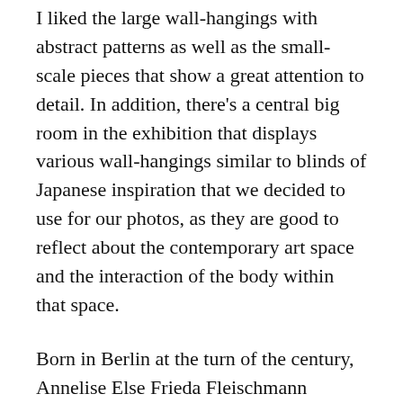I liked the large wall-hangings with abstract patterns as well as the small-scale pieces that show a great attention to detail. In addition, there’s a central big room in the exhibition that displays various wall-hangings similar to blinds of Japanese inspiration that we decided to use for our photos, as they are good to reflect about the contemporary art space and the interaction of the body within that space.
Born in Berlin at the turn of the century, Annelise Else Frieda Fleischmann became a student at the Bauhaus in 1922, where she met her husband Josef Albers and other key modernist figures like Paul Klee.
The Bauhaus was a German art school that was